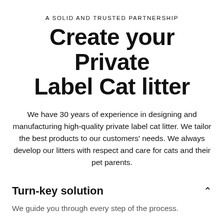A SOLID AND TRUSTED PARTNERSHIP
Create your Private Label Cat litter
We have 30 years of experience in designing and manufacturing high-quality private label cat litter. We tailor the best products to our customers' needs. We always develop our litters with respect and care for cats and their pet parents.
Turn-key solution
We guide you through every step of the process.